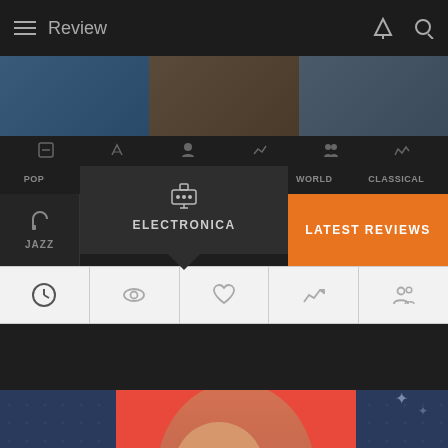Review
[Figure (screenshot): Music review app screenshot showing navigation bar with hamburger menu, Review title, and control icons]
[Figure (photo): Blurred album artwork strip showing multiple music releases]
POP  ROCK  COUNTRY  BLUES  WORLD  CLASSICAL
JAZZ  ELECTRONICA  LATEST REVIEWS
[Figure (screenshot): Filter icons row: clock, eye, heart, chart, people]
[Figure (photo): Album cover showing 'BACK' text in yellow italic on red background with female artist portrait on dark denim background]